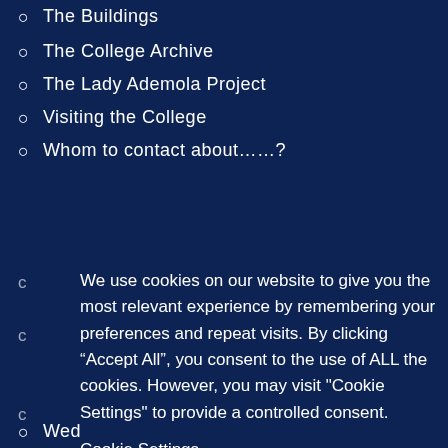The Buildings
The College Archive
The Lady Ademola Project
Visiting the College
Whom to contact about……?
We use cookies on our website to give you the most relevant experience by remembering your preferences and repeat visits. By clicking “Accept All”, you consent to the use of ALL the cookies. However, you may visit "Cookie Settings" to provide a controlled consent.
Cookie Settings
ACCEPT ALL
Weddings